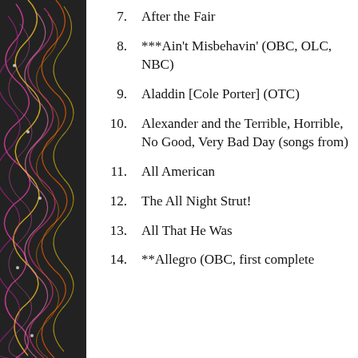[Figure (illustration): Decorative sidebar with colorful swirling neon line patterns on dark background]
7. After the Fair
8. ***Ain't Misbehavin' (OBC, OLC, NBC)
9. Aladdin [Cole Porter] (OTC)
10. Alexander and the Terrible, Horrible, No Good, Very Bad Day (songs from)
11. All American
12. The All Night Strut!
13. All That He Was
14. **Allegro (OBC, first complete